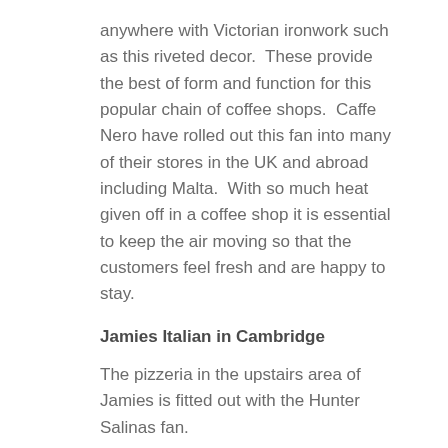anywhere with Victorian ironwork such as this riveted decor.  These provide the best of form and function for this popular chain of coffee shops.  Caffe Nero have rolled out this fan into many of their stores in the UK and abroad including Malta.  With so much heat given off in a coffee shop it is essential to keep the air moving so that the customers feel fresh and are happy to stay.
Jamies Italian in Cambridge
The pizzeria in the upstairs area of Jamies is fitted out with the Hunter Salinas fan.
ASK Italian in Canterbury
A number of branches of ASK have installed the Lucci Airclimate Fusion low energy DC fan.
Martinsall Restaurant in Belgium